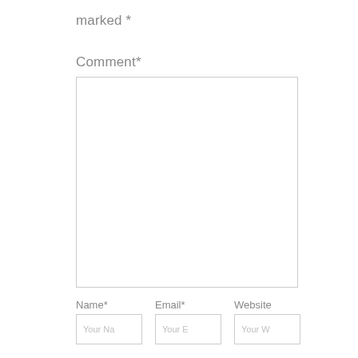marked *
Comment *
[Figure (other): Large empty comment textarea input box with light grey border]
Name *
Email *
Website
[Figure (other): Three input fields: Your Name, Your Email, Your Website, each with grey border and placeholder text]
Submit
This site ...